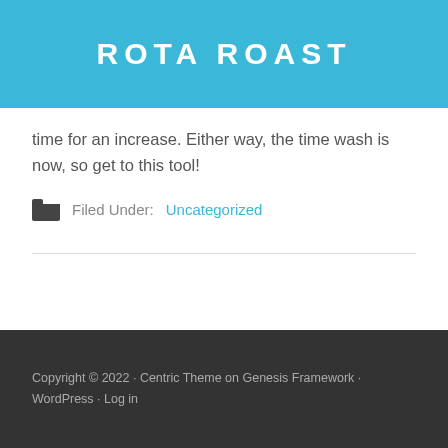ROTA ROAST
time for an increase. Either way, the time wash is now, so get to this tool!
Filed Under: Uncategorized
Copyright © 2022 · Centric Theme on Genesis Framework · WordPress · Log in